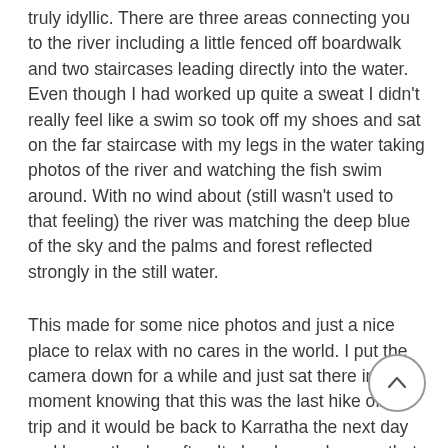truly idyllic. There are three areas connecting you to the river including a little fenced off boardwalk and two staircases leading directly into the water. Even though I had worked up quite a sweat I didn't really feel like a swim so took off my shoes and sat on the far staircase with my legs in the water taking photos of the river and watching the fish swim around. With no wind about (still wasn't used to that feeling) the river was matching the deep blue of the sky and the palms and forest reflected strongly in the still water.
This made for some nice photos and just a nice place to relax with no cares in the world. I put the camera down for a while and just sat there in the moment knowing that this was the last hike of the trip and it would be back to Karratha the next day and home the day after. It also dawned on me that my hiking shoes that had served me for 10 years had finished their last hike and would never be worn again. They'd been slowly falling apart for a couple of years and despite being on my second replacement pair since their first retirement, brought them up here because I didn't want to hike around the wet gorges in proper boots. With a few